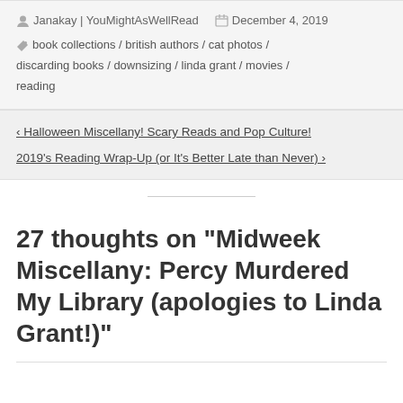Janakay | YouMightAsWellRead   December 4, 2019
book collections / british authors / cat photos / discarding books / downsizing / linda grant / movies / reading
< Halloween Miscellany! Scary Reads and Pop Culture!
2019's Reading Wrap-Up (or It's Better Late than Never) >
27 thoughts on “Midweek Miscellany: Percy Murdered My Library (apologies to Linda Grant!)”